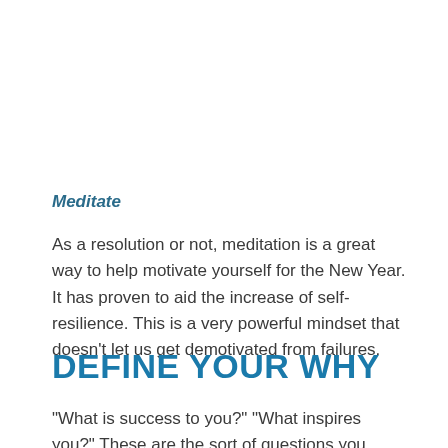Meditate
As a resolution or not, meditation is a great way to help motivate yourself for the New Year. It has proven to aid the increase of self-resilience. This is a very powerful mindset that doesn't let us get demotivated from failures.
DEFINE YOUR WHY
“What is success to you?” “What inspires you?” These are the sort of questions you must ask